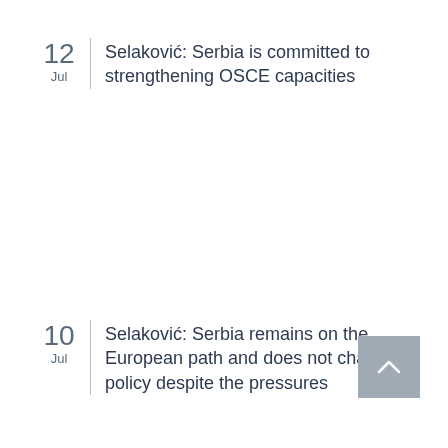12 Jul — Selaković: Serbia is committed to strengthening OSCE capacities
10 Jul — Selaković: Serbia remains on the European path and does not change its policy despite the pressures